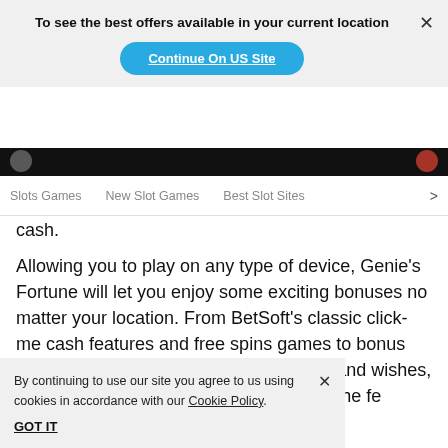To see the best offers available in your current location
Continue On US Site
Slots Games   New Slot Games   Best Slot Sites  >
cash.
Allowing you to play on any type of device, Genie’s Fortune will let you enjoy some exciting bonuses no matter your location. From BetSoft’s classic click-me cash features and free spins games to bonus prizes brought on by magic carpet rides and wishes, this slot m s fe G
By continuing to use our site you agree to us using cookies in accordance with our Cookie Policy.
GOT IT